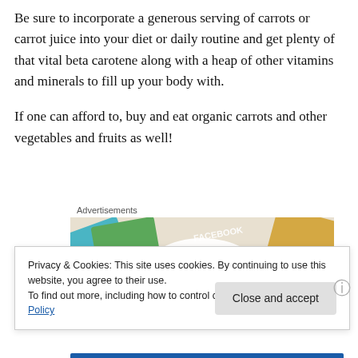Be sure to incorporate a generous serving of carrots or carrot juice into your diet or daily routine and get plenty of that vital beta carotene along with a heap of other vitamins and minerals to fill up your body with.
If one can afford to, buy and eat organic carrots and other vegetables and fruits as well!
Advertisements
[Figure (screenshot): Advertisement image showing overlapping cards with social media logos (Meta, Facebook) and text 'We're the WordPress CMS']
Privacy & Cookies: This site uses cookies. By continuing to use this website, you agree to their use.
To find out more, including how to control cookies, see here: Cookie Policy
Close and accept